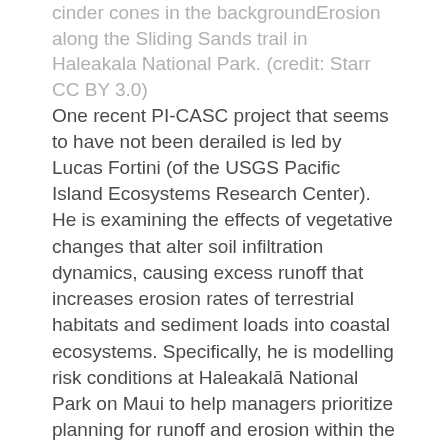cinder cones in the backgroundErosion along the Sliding Sands trail in Haleakala National Park. (credit: Starr CC BY 3.0)
One recent PI-CASC project that seems to have not been derailed is led by Lucas Fortini (of the USGS Pacific Island Ecosystems Research Center). He is examining the effects of vegetative changes that alter soil infiltration dynamics, causing excess runoff that increases erosion rates of terrestrial habitats and sediment loads into coastal ecosystems. Specifically, he is modelling risk conditions at Haleakalā National Park on Maui to help managers prioritize planning for runoff and erosion within the park.
Because the project is essentially completely computer-based at this stage, Fortini says the work has not been affected by the shutdown. "I